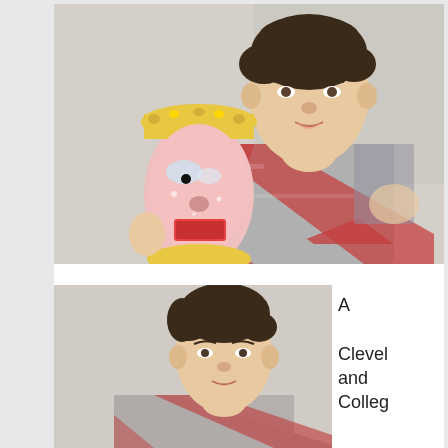[Figure (photo): Young man with dark hair wearing a Union Jack t-shirt, holding a decorative bedazzled/glittered mask figure with golden trim and pink face, seated or standing in front of a light-colored wall.]
[Figure (photo): Same young man with dark hair, cropped photo showing head and upper body, similar light background.]
A Cleveland Colleg